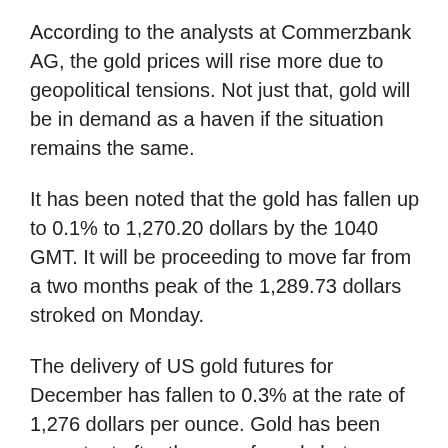According to the analysts at Commerzbank AG, the gold prices will rise more due to geopolitical tensions. Not just that, gold will be in demand as a haven if the situation remains the same.
It has been noted that the gold has fallen up to 0.1% to 1,270.20 dollars by the 1040 GMT. It will be proceeding to move far from a two months peak of the 1,289.73 dollars stroked on Monday.
The delivery of US gold futures for December has fallen to 0.3% at the rate of 1,276 dollars per ounce. Gold has been expectant after the war of words between the leader of North Korea and president of the USA regarding the development of atomic missiles of Pyongyang.